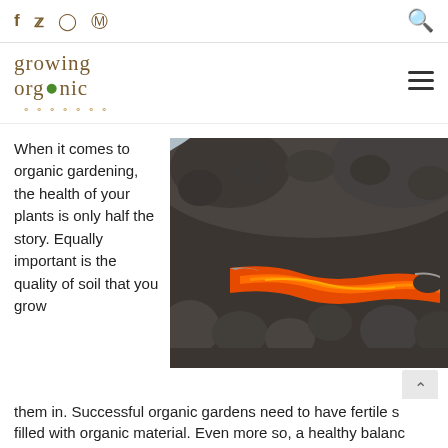f  twitter  instagram  pinterest  [search]
[Figure (logo): Growing Organic logo with leaf and roots illustration]
When it comes to organic gardening, the health of your plants is only half the story. Equally important is the quality of soil that you grow them in. Successful organic gardens need to have fertile s filled with organic material. Even more so, a healthy balance of
[Figure (photo): Close-up photograph of lava flow with glowing orange/red molten lava flowing between dark grey volcanic rock formations]